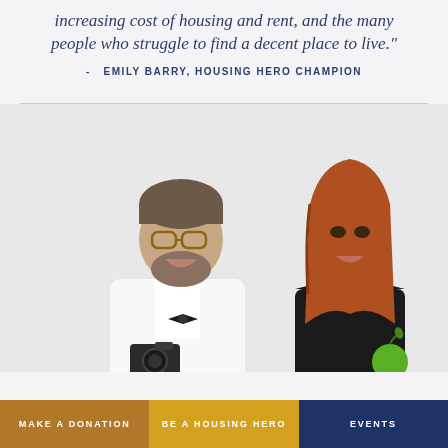increasing cost of housing and rent, and the many people who struggle to find a decent place to live."
- EMILY BARRY, HOUSING HERO CHAMPION
[Figure (photo): A man in a white tuxedo with a black bow tie and glasses, smiling, holding a camera. Next to him is a woman in a black strapless dress with long auburn hair, smiling and holding a green apple. They are looking at each other.]
MAKE A DONATION
BE A HOUSING HERO
EVENTS